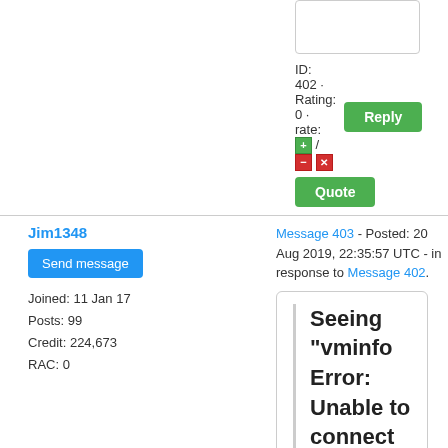ID: 402 · Rating: 0 · rate: [+] / [-] [x]
Reply
Quote
Jim1348
Message 403 - Posted: 20 Aug 2019, 22:35:57 UTC - in response to Message 402.
Send message
Joined: 11 Jan 17
Posts: 99
Credit: 224,673
RAC: 0
Seeing "vminfo Error: Unable to connect to system D-Bus (2/3): D-Bus not installed" in just about all my invalids.
I think that is in all of them, even the good ones. It does not indicate an error.